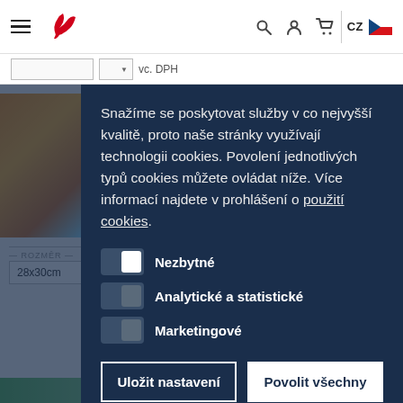Navigation bar with hamburger menu, logo, search/user/cart icons, CZ language selector with Czech flag
vc. DPH
[Figure (screenshot): Partially visible product image showing autumn leaves in orange/gold colors]
ROZMĚR
28x30cm
Snažíme se poskytovat služby v co nejvyšší kvalitě, proto naše stránky využívají technologii cookies. Povolení jednotlivých typů cookies můžete ovládat níže. Více informací najdete v prohlášení o použití cookies.
Nezbytné
Analytické a statistické
Marketingové
Uložit nastavení
Povolit všechny